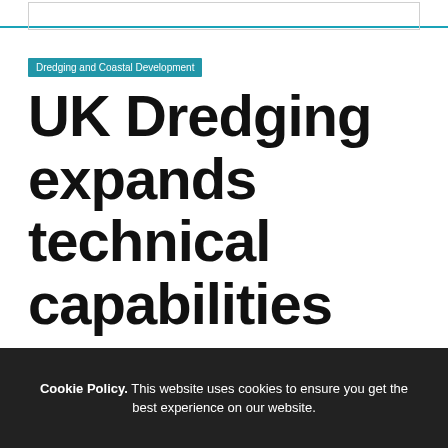Dredging and Coastal Development
UK Dredging expands technical capabilities
August 20, 2012
Authorship
Cookie Policy. This website uses cookies to ensure you get the best experience on our website.